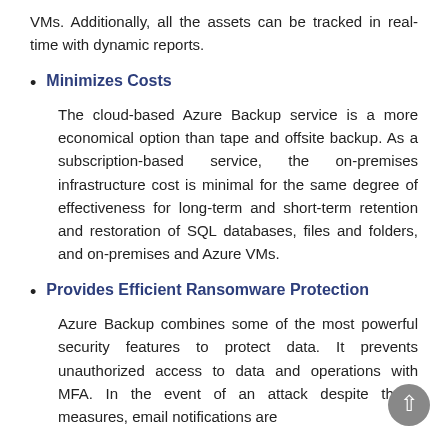VMs. Additionally, all the assets can be tracked in real-time with dynamic reports.
Minimizes Costs
The cloud-based Azure Backup service is a more economical option than tape and offsite backup. As a subscription-based service, the on-premises infrastructure cost is minimal for the same degree of effectiveness for long-term and short-term retention and restoration of SQL databases, files and folders, and on-premises and Azure VMs.
Provides Efficient Ransomware Protection
Azure Backup combines some of the most powerful security features to protect data. It prevents unauthorized access to data and operations with MFA. In the event of an attack despite those measures, email notifications are